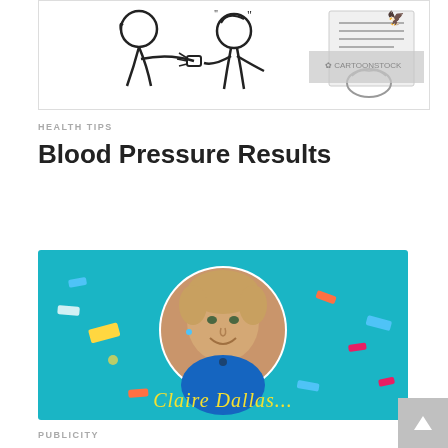[Figure (illustration): Black and white cartoon illustration showing a doctor taking a patient's blood pressure, with a CartoonStock watermark in the top right corner]
HEALTH TIPS
Blood Pressure Results
[Figure (photo): Photo of a smiling woman with short blonde hair wearing a blue top, displayed in a circular frame against a bright teal/turquoise background with colorful confetti pieces scattered around. Script/cursive text visible at the bottom.]
PUBLICITY